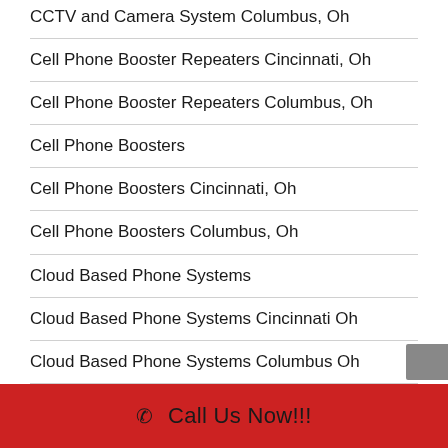CCTV and Camera System Columbus, Oh
Cell Phone Booster Repeaters Cincinnati, Oh
Cell Phone Booster Repeaters Columbus, Oh
Cell Phone Boosters
Cell Phone Boosters Cincinnati, Oh
Cell Phone Boosters Columbus, Oh
Cloud Based Phone Systems
Cloud Based Phone Systems Cincinnati Oh
Cloud Based Phone Systems Columbus Oh
Cloud Based Telephone Systems
✆ Call Us Now!!!